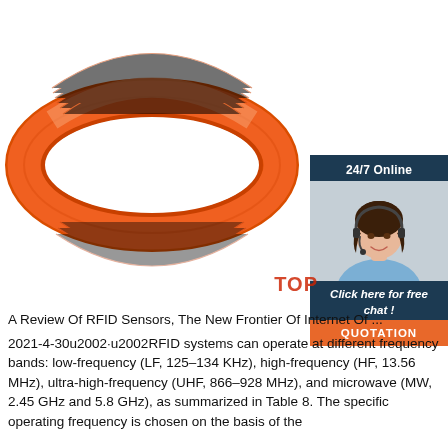[Figure (photo): Orange RFID silicone wristband with white RFID logo text and radio wave symbols on it, shown against a white background.]
[Figure (photo): Chat widget showing a customer service agent (woman with headset) and text '24/7 Online', 'Click here for free chat!', and an orange 'QUOTATION' button.]
A Review Of RFID Sensors, The New Frontier Of Internet Of ...
2021-4-30u2002·u2002RFID systems can operate at different frequency bands: low-frequency (LF, 125–134 KHz), high-frequency (HF, 13.56 MHz), ultra-high-frequency (UHF, 866–928 MHz), and microwave (MW, 2.45 GHz and 5.8 GHz), as summarized in Table 8. The specific operating frequency is chosen on the basis of the